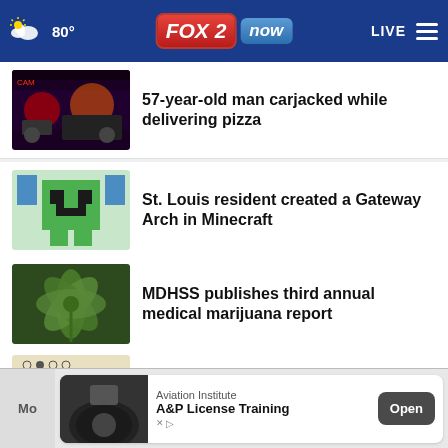FOX 2 now | 80° | LIVE
[Figure (screenshot): Thumbnail: police lights, car interior at night]
57-year-old man carjacked while delivering pizza
[Figure (screenshot): Thumbnail: Minecraft Creeper character in green]
St. Louis resident created a Gateway Arch in Minecraft
[Figure (screenshot): Thumbnail: marijuana leaf close-up]
MDHSS publishes third annual medical marijuana report
[Figure (screenshot): Thumbnail: multiple choice test answer sheet with pencil]
Missouri student test scores still lag behind pre-pandemic …
[Figure (screenshot): Thumbnail: small town Illinois scene with large object]
Check out big things in this small Illinois town
[Figure (screenshot): Advertisement: Aviation Institute - A&P License Training with Open button]